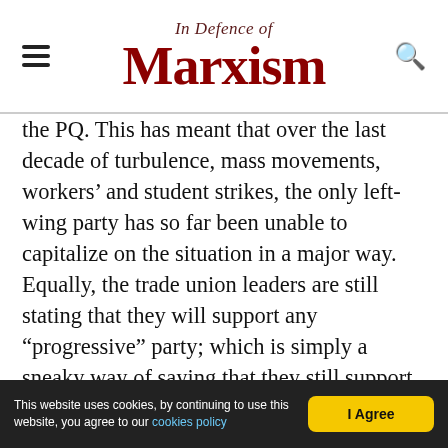In Defence of Marxism
the PQ. This has meant that over the last decade of turbulence, mass movements, workers' and student strikes, the only left-wing party has so far been unable to capitalize on the situation in a major way. Equally, the trade union leaders are still stating that they will support any “progressive” party; which is simply a sneaky way of saying that they still support the PQ. The PQ is now firmly seen as an establishment party, and you cannot fight the anti-establishment CAQ with establishment politics. With the election just around the corner, it is more important than ever for the unions and QS to unite their resources and be in a position to channel the
This website uses cookies, by continuing to use this website, you agree to our cookies policy  I Agree